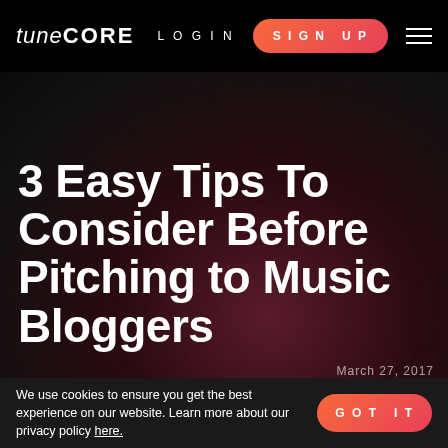tune CORE   LOGIN   SIGN UP
3 Easy Tips To Consider Before Pitching to Music Bloggers
March 27, 2017
We use cookies to ensure you get the best experience on our website. Learn more about our privacy policy here.   GOT IT